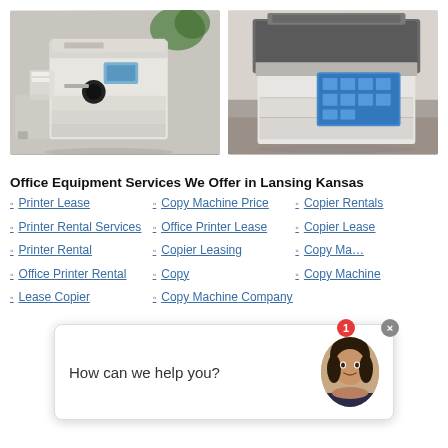[Figure (photo): Two office copier/printer machines side by side. Left: a large white Xerox-style copier with paper trays, in an office. Right: a modern white multifunction copier with a large blue touchscreen display.]
Office Equipment Services We Offer in Lansing Kansas
Printer Lease
Printer Rental Services
Printer Rental
Office Printer Rental
Lease Copier
Copy Machine Price
Office Printer Lease
Copier Leasing
Copy
Copy Machine Company
Copier Rentals
Copier Lease
Copy Ma…
Copy Machine
[Figure (screenshot): Chat widget overlay with text 'How can we help you?' and a female avatar with a red badge showing '1', and a close X button.]